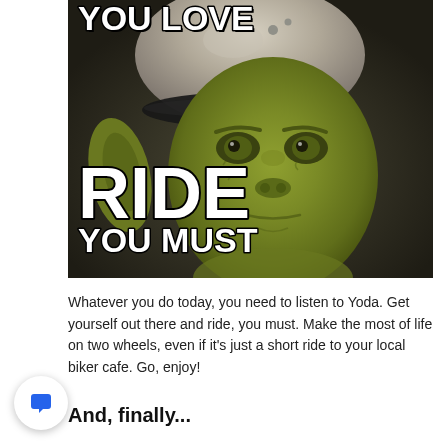[Figure (photo): Meme image of Yoda wearing a motorcycle helmet with white bold text overlay reading 'YOU LOVE' at top and 'RIDE YOU MUST' at bottom left, dark background]
Whatever you do today, you need to listen to Yoda. Get yourself out there and ride, you must. Make the most of life on two wheels, even if it's just a short ride to your local biker cafe. Go, enjoy!
And, finally...